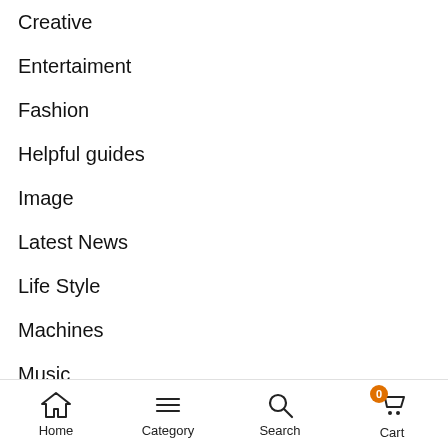Creative
Entertaiment
Fashion
Helpful guides
Image
Latest News
Life Style
Machines
Music
Others
Photography
Technology
Home  Category  Search  Cart